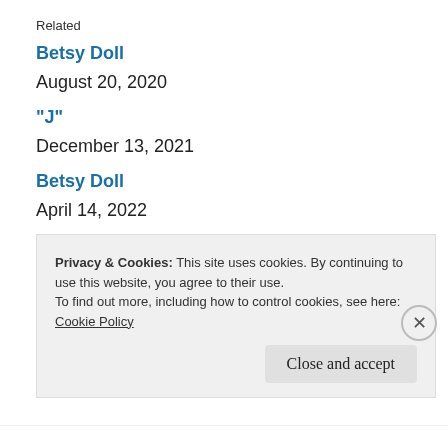Related
Betsy Doll
August 20, 2020
“J”
December 13, 2021
Betsy Doll
April 14, 2022
Privacy & Cookies: This site uses cookies. By continuing to use this website, you agree to their use.
To find out more, including how to control cookies, see here:
Cookie Policy
Close and accept